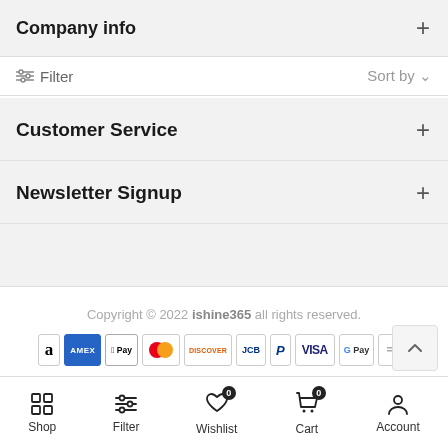Company info
Filter   Sort by
Customer Service
Newsletter Signup
Copyright © 2022 ishine365 all rights reserved.
[Figure (other): Payment method icons: Amazon, Amex, Apple Pay, Mastercard, Discover, JCB, PayPal, Visa, Google Pay, and more]
Shop  Filter  Wishlist 0  Cart 0  Account